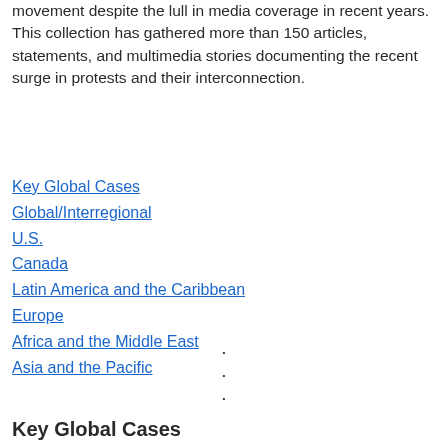movement despite the lull in media coverage in recent years. This collection has gathered more than 150 articles, statements, and multimedia stories documenting the recent surge in protests and their interconnection.
Key Global Cases
Global/Interregional
U.S.
Canada
Latin America and the Caribbean
Europe
Africa and the Middle East
Asia and the Pacific
Key Global Cases